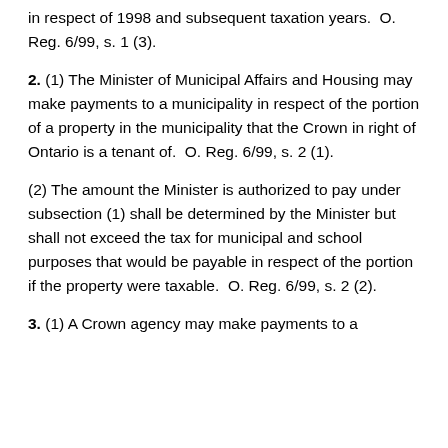in respect of 1998 and subsequent taxation years.  O. Reg. 6/99, s. 1 (3).
2. (1) The Minister of Municipal Affairs and Housing may make payments to a municipality in respect of the portion of a property in the municipality that the Crown in right of Ontario is a tenant of.  O. Reg. 6/99, s. 2 (1).
(2) The amount the Minister is authorized to pay under subsection (1) shall be determined by the Minister but shall not exceed the tax for municipal and school purposes that would be payable in respect of the portion if the property were taxable.  O. Reg. 6/99, s. 2 (2).
3. (1) A Crown agency may make payments to a